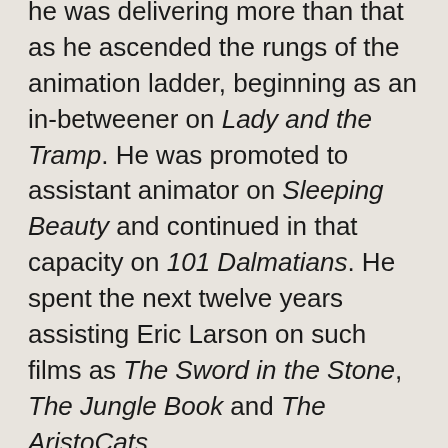he was delivering more than that as he ascended the rungs of the animation ladder, beginning as an in-betweener on Lady and the Tramp. He was promoted to assistant animator on Sleeping Beauty and continued in that capacity on 101 Dalmatians. He spent the next twelve years assisting Eric Larson on such films as The Sword in the Stone, The Jungle Book and The AristoCats.
In 1972, after completing an internal training program, he became an animator on Robin Hood and a key animator on Winnie the Pooh and Tigger Too. Following this, he worked on storyboards and title designs for The